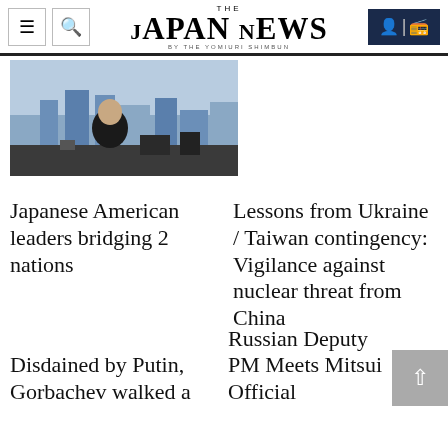THE JAPAN NEWS BY THE YOMIURI SHIMBUN
[Figure (photo): A man in a white shirt sitting at a desk in an office with a city skyline visible through large windows.]
Japanese American leaders bridging 2 nations
Lessons from Ukraine / Taiwan contingency: Vigilance against nuclear threat from China
Disdained by Putin, Gorbachev walked a
Russian Deputy PM Meets Mitsui Official